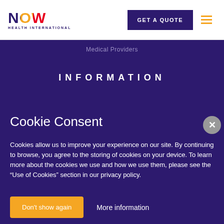NOW HEALTH INTERNATIONAL
GET A QUOTE
Medical Providers
INFORMATION
Cookie Consent
Cookies allow us to improve your experience on our site. By continuing to browse, you agree to the storing of cookies on your device. To learn more about the cookies we use and how we use them, please see the “Use of Cookies” section in our privacy policy.
Don't show again
More information